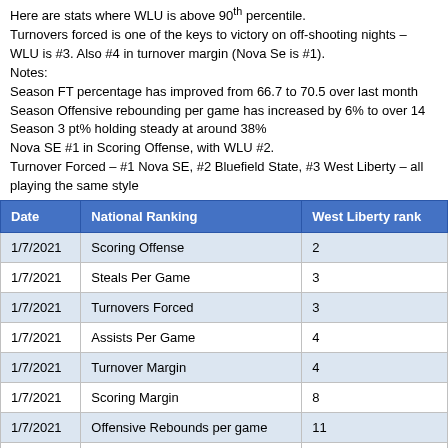Here are stats where WLU is above 90th percentile.
Turnovers forced is one of the keys to victory on off-shooting nights – WLU is #3. Also #4 in turnover margin (Nova Se is #1).
Notes:
Season FT percentage has improved from 66.7 to 70.5 over last month
Season Offensive rebounding per game has increased by 6% to over 14
Season 3 pt% holding steady at around 38%
Nova SE #1 in Scoring Offense, with WLU #2.
Turnover Forced – #1 Nova SE, #2 Bluefield State, #3 West Liberty – all playing the same style
| Date | National Ranking | West Liberty rank |
| --- | --- | --- |
| 1/7/2021 | Scoring Offense | 2 |
| 1/7/2021 | Steals Per Game | 3 |
| 1/7/2021 | Turnovers Forced | 3 |
| 1/7/2021 | Assists Per Game | 4 |
| 1/7/2021 | Turnover Margin | 4 |
| 1/7/2021 | Scoring Margin | 8 |
| 1/7/2021 | Offensive Rebounds per game | 11 |
| 1/7/2021 | Assist Turnover Ratio | 16 |
| 1/7/2021 | Free-Throw Attempts | 16 |